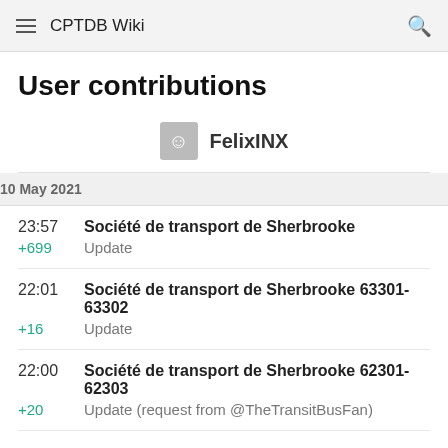CPTDB Wiki
User contributions
FelixINX
10 May 2021
23:57 +699 Société de transport de Sherbrooke Update
22:01 +16 Société de transport de Sherbrooke 63301-63302 Update
22:00 +20 Société de transport de Sherbrooke 62301-62303 Update (request from @TheTransitBusFan)